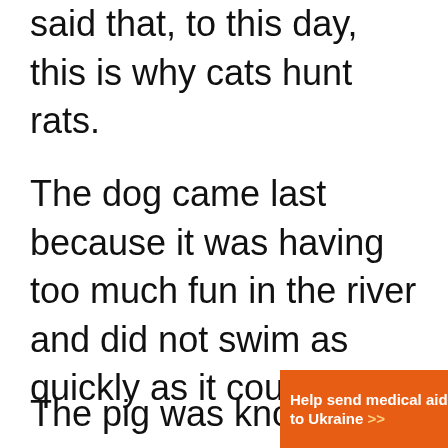said that, to this day, this is why cats hunt rats.
The dog came last because it was having too much fun in the river and did not swim as quickly as it could.
The pig was known to be lazy;
[Figure (other): Orange advertisement banner for Direct Relief reading 'Help send medical aid to Ukraine >>' with DirectRelief logo]